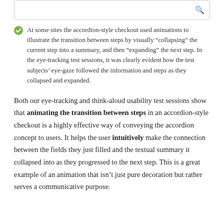[Figure (screenshot): Search input box with a search icon on the right]
At some sites the accordion-style checkout used animations to illustrate the transition between steps by visually “collapsing” the current step into a summary, and then “expanding” the next step. In the eye-tracking test sessions, it was clearly evident how the test subjects’ eye-gaze followed the information and steps as they collapsed and expanded.
Both our eye-tracking and think-aloud usability test sessions show that animating the transition between steps in an accordion-style checkout is a highly effective way of conveying the accordion concept to users. It helps the user intuitively make the connection between the fields they just filled and the textual summary it collapsed into as they progressed to the next step. This is a great example of an animation that isn’t just pure decoration but rather serves a communicative purpose.